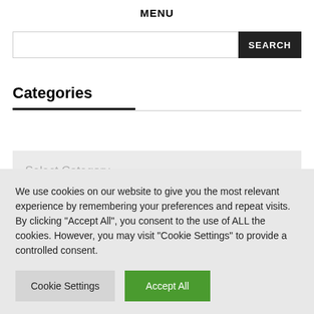MENU
[Figure (screenshot): Search input bar with a dark button labeled 'SEARCH' on the right]
Categories
[Figure (screenshot): Select Category dropdown control with chevron arrow on right]
We use cookies on our website to give you the most relevant experience by remembering your preferences and repeat visits. By clicking "Accept All", you consent to the use of ALL the cookies. However, you may visit "Cookie Settings" to provide a controlled consent.
Cookie Settings   Accept All